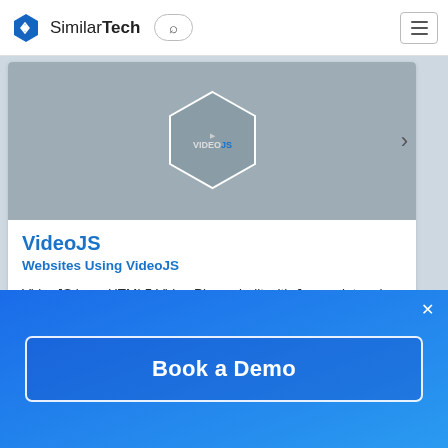[Figure (screenshot): SimilarTech website header with hexagonal blue logo, site name 'SimilarTech', search button, and hamburger menu icon]
[Figure (illustration): VideoJS logo hexagon badge on grey card image background with right arrow navigation]
VideoJS
Websites Using VideoJS
VideoJS is an HTML5 Video Player, built with Javascript and CSS, with a fallback to a Flash video player for when the browser doesn't support HTML5 video.
Book a Demo